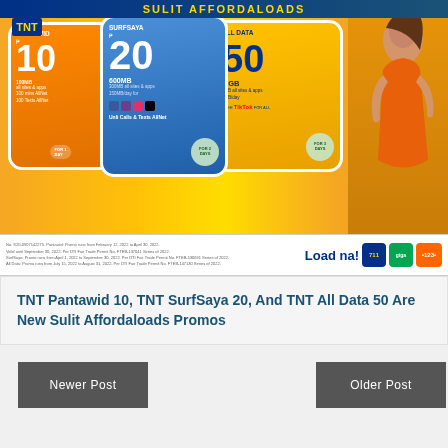[Figure (infographic): TNT Sulit Affordaloads promotional banner showing three promo cards: Pantawid 10 (100MB, 100 mins AllNet, 100 Texts AllNet), SurfSaya 20 (600MB, 300MB all sites & apps, 150MB/day, Unli Calls & Texts AllNet, For 2 Days), All Data 50 (5GB, 2GB all sites & apps, 1GB/day, Free TikTok for all, For 3 Days). A woman in orange dress is shown on the right side.]
No. S20-0907142275. Pantawid: Promo runs from February 12, 2022 to April 30, 2022. Valid until September 30, 2022. Per DTI Fair Trade Permit No. FTEB-137041 Series of 2022. SurfSaya: Promo runs from April 1, 2022 to September 30, 2022. Per DTI Fair Trade Permit No. FTEB-130691 Series of 2022. All Data: Promo runs from July 15, 2022 to August 31, 2022. Per DTI Fair Trade Permit No. FTEB-147130 Series of 2022.
TNT Pantawid 10, TNT SurfSaya 20, And TNT All Data 50 Are New Sulit Affordaloads Promos
Newer Post
Older Post